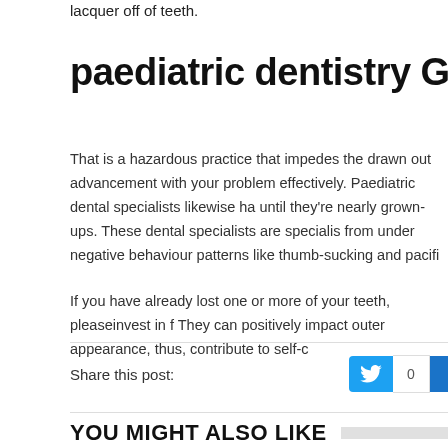lacquer off of teeth.
paediatric dentistry Glendale, NY
That is a hazardous practice that impedes the drawn out advancement with your problem effectively. Paediatric dental specialists likewise have until they're nearly grown-ups. These dental specialists are specialists from under negative behaviour patterns like thumb-sucking and pacifi...
If you have already lost one or more of your teeth, pleaseinvest in f... They can positively impact outer appearance, thus, contribute to self-c...
Share this post:
YOU MIGHT ALSO LIKE